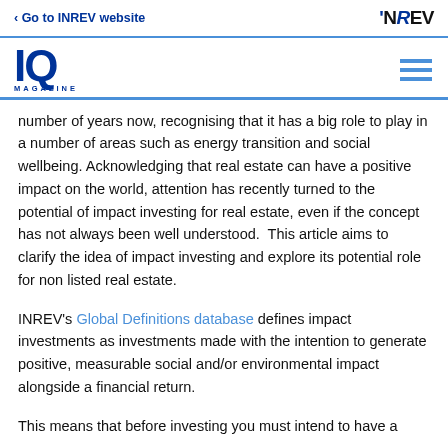‹ Go to INREV website   INREV
[Figure (logo): IQ Magazine logo with large blue IQ letters and MAGAZINE text below]
number of years now, recognising that it has a big role to play in a number of areas such as energy transition and social wellbeing. Acknowledging that real estate can have a positive impact on the world, attention has recently turned to the potential of impact investing for real estate, even if the concept has not always been well understood.  This article aims to clarify the idea of impact investing and explore its potential role for non listed real estate.
INREV's Global Definitions database defines impact investments as investments made with the intention to generate positive, measurable social and/or environmental impact alongside a financial return.
This means that before investing you must intend to have a